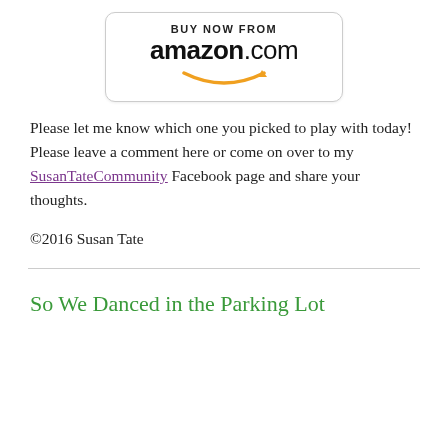[Figure (logo): Amazon.com 'Buy Now From' button with smile logo]
Please let me know which one you picked to play with today! Please leave a comment here or come on over to my SusanTateCommunity Facebook page and share your thoughts.
©2016 Susan Tate
So We Danced in the Parking Lot